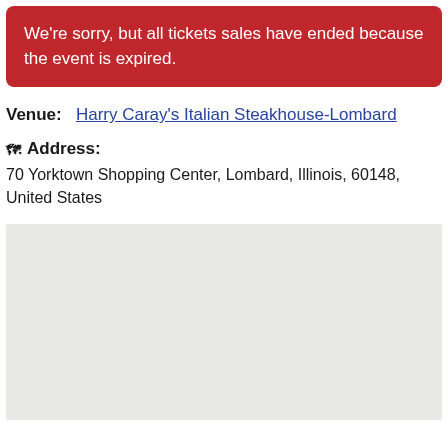We're sorry, but all tickets sales have ended because the event is expired.
Venue:  Harry Caray's Italian Steakhouse-Lombard
Address:
70 Yorktown Shopping Center, Lombard, Illinois, 60148, United States
[Figure (map): Gray placeholder map area showing no detail]